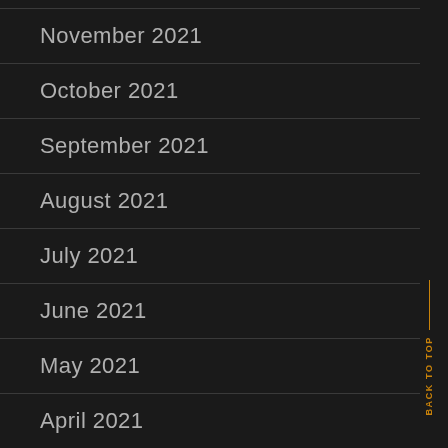November 2021
October 2021
September 2021
August 2021
July 2021
June 2021
May 2021
April 2021